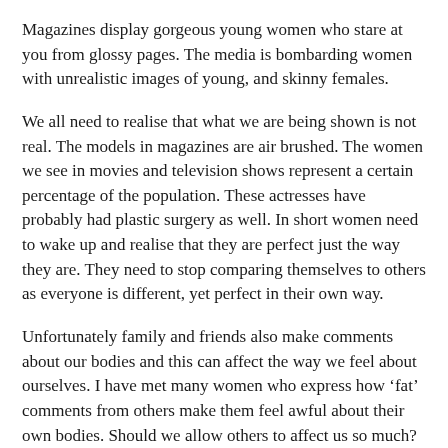Magazines display gorgeous young women who stare at you from glossy pages. The media is bombarding women with unrealistic images of young, and skinny females.
We all need to realise that what we are being shown is not real. The models in magazines are air brushed. The women we see in movies and television shows represent a certain percentage of the population. These actresses have probably had plastic surgery as well. In short women need to wake up and realise that they are perfect just the way they are. They need to stop comparing themselves to others as everyone is different, yet perfect in their own way.
Unfortunately family and friends also make comments about our bodies and this can affect the way we feel about ourselves. I have met many women who express how ‘fat’ comments from others make them feel awful about their own bodies. Should we allow others to affect us so much? People need to build resilience and believe in their own uniqueness and perfection. Accept yourself and realise that there is no one in this world like you. The media is ‘make believe’ and they make no guarantee of the truth behind their images.